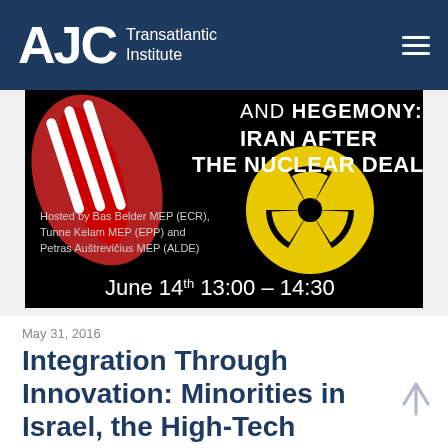AJC Transatlantic Institute
[Figure (photo): Event poster for 'AND HEGEMONY: IRAN AFTER THE NUCLEAR DEAL' on a black background with a nuclear hazard symbol (yellow and black) and a red-and-white hand/fist motif. Text reads: Hosted by Bas Belder MEP (ECR), Tunne Kelam MEP (EPP) and Petras Auštrevičius MEP (ALDE). June 14th 13:00 – 14:30]
May 31, 2016
Integration Through Innovation: Minorities in Israel, the High-Tech Industry and Lessons for Europe